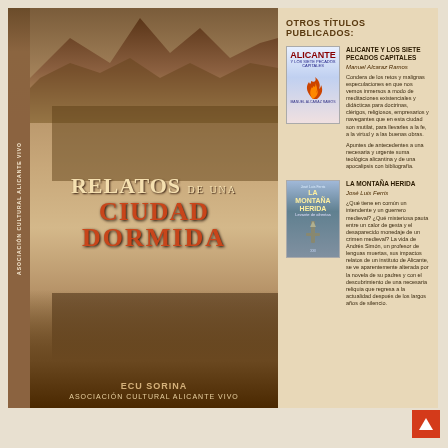[Figure (photo): Book cover for 'Relatos de una Ciudad Dormida' by Asociación Cultural Alicante Vivo, with sepia-toned historical photos of Alicante and publisher ECU Soriana]
OTROS TÍTULOS PUBLICADOS:
[Figure (photo): Thumbnail cover of 'Alicante y los Siete Pecados Capitales' with flame illustration]
ALICANTE Y LOS SIETE PECADOS CAPITALES
Manuel Alcaraz Ramos
Condera de los retos y malignas especulaciones en que nos vemos inmersos a modo de meditaciones existenciales y didácticas para doctrinas, clérigos, religiosos, empresarios y navegantes que en esta ciudad son mutilat, para llevarles a la fe, a la virtud y a las buenas obras. Apuntes de antecedentes a una necesaria y urgente suma teológica alicantina y de una apocalipsis con bibliografía.
[Figure (photo): Thumbnail cover of 'La Montaña Herida' by José Luis Ferris with sword illustration]
LA MONTAÑA HERIDA
José Luis Ferris
¿Qué tiene en común un intendente y un guerrero medieval? ¿Qué misteriosa pauta entre un calor de gesta y el desaparecido monedaje de un crimen medieval? La vida de Andrés Simón, un profesor de lenguas muertas, sus impactos relatos de un instituto de Alicante, se ve aparentemente alterada por la novela de su padres y con el descubrimiento de una necesaria reliquia que regresa a la actualidad después de los largos años de silencio.